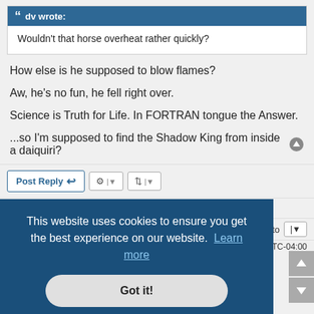dv wrote:
Wouldn't that horse overheat rather quickly?
How else is he supposed to blow flames?
Aw, he's no fun, he fell right over.
Science is Truth for Life. In FORTRAN tongue the Answer.
...so I'm supposed to find the Shadow King from inside a daiquiri?
Post Reply
49194 posts  1  330  331  332  333  334  1005
p to  |
UTC-04:00
This website uses cookies to ensure you get the best experience on our website. Learn more
Got it!